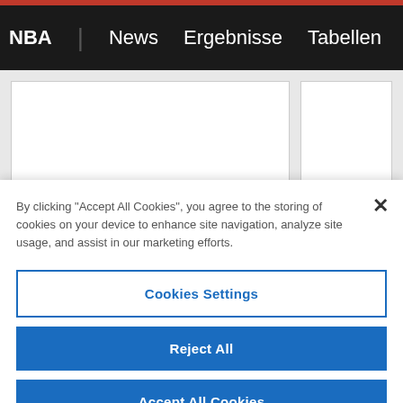NBA | News  Ergebnisse  Tabellen  Leaderboard  Pl…
[Figure (screenshot): Two white card placeholders on a grey background, representing page content behind the cookie consent modal.]
By clicking "Accept All Cookies", you agree to the storing of cookies on your device to enhance site navigation, analyze site usage, and assist in our marketing efforts.
Cookies Settings
Reject All
Accept All Cookies